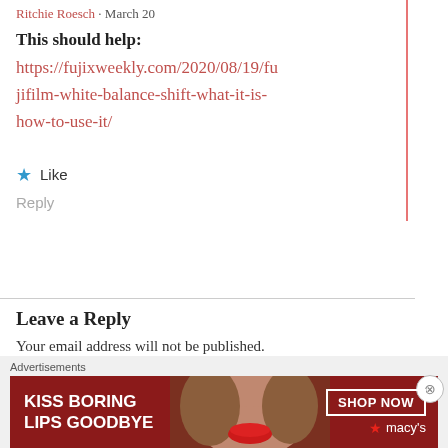Ritchie Roesch · March 20
This should help:
https://fujixweekly.com/2020/08/19/fujifilm-white-balance-shift-what-it-is-how-to-use-it/
Like
Reply
Leave a Reply
Your email address will not be published.
Required fields are marked *
Advertisements
[Figure (photo): Macy's advertisement banner: KISS BORING LIPS GOODBYE with SHOP NOW button and macy's logo]